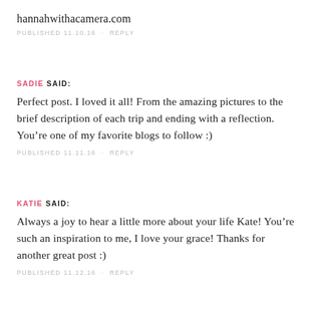hannahwithacamera.com
PUBLISHED 11.10.16 · REPLY
SADIE SAID:
Perfect post. I loved it all! From the amazing pictures to the brief description of each trip and ending with a reflection. You're one of my favorite blogs to follow :)
PUBLISHED 11.11.16 · REPLY
KATIE SAID:
Always a joy to hear a little more about your life Kate! You're such an inspiration to me, I love your grace! Thanks for another great post :)
PUBLISHED 11.12.16 · REPLY